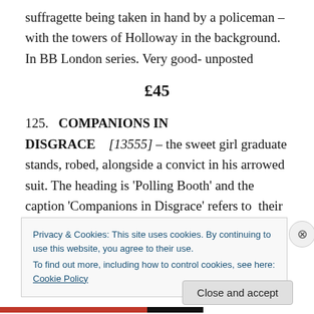suffragette being taken in hand by a policeman – with the towers of Holloway in the background. In BB London series. Very good- unposted
£45
125.   COMPANIONS IN DISGRACE    [13555] – the sweet girl graduate stands, robed, alongside a convict in his arrowed suit. The heading is 'Polling Booth' and the caption 'Companions in Disgrace' refers to  their shared characteristic. The verse below explains further: 'Convicts
Privacy & Cookies: This site uses cookies. By continuing to use this website, you agree to their use.
To find out more, including how to control cookies, see here: Cookie Policy
Close and accept